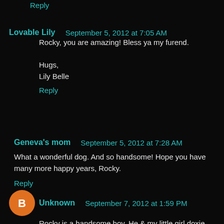Reply
Lovable Lily  September 5, 2012 at 7:05 AM
Rocky, you are amazing! Bless ya my furend.

Hugs,
Lily Belle
Reply
Geneva's mom  September 5, 2012 at 7:28 AM
What a wonderful dog. And so handsome! Hope you have many more happy years, Rocky.
Reply
Unknown  September 7, 2012 at 1:59 PM
Rocky is a handsome boy. He & my little girl doxie, Slick, could have a senior doggy love affair. She is 19 or 20 years old. We adopted her in 2000 & they say she was about 1 then f...